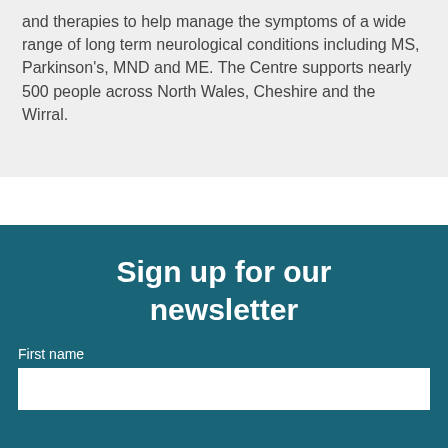and therapies to help manage the symptoms of a wide range of long term neurological conditions including MS, Parkinson's, MND and ME. The Centre supports nearly 500 people across North Wales, Cheshire and the Wirral.
Sign up for our newsletter
First name